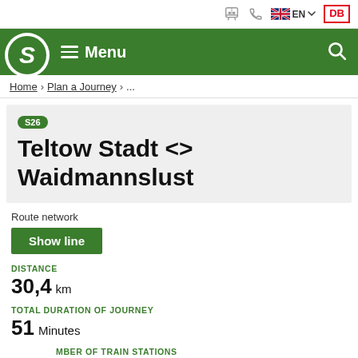S-Bahn website header with icons, EN language selector, DB logo
Menu navigation bar with S logo and search icon
Home › Plan a Journey › ...
S26 Teltow Stadt <> Waidmannslust
Route network
Show line
DISTANCE
30,4 km
TOTAL DURATION OF JOURNEY
51 Minutes
NUMBER OF TRAIN STATIONS
25